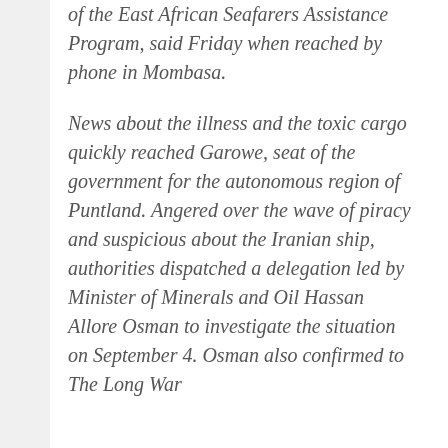of the East African Seafarers Assistance Program, said Friday when reached by phone in Mombasa.
News about the illness and the toxic cargo quickly reached Garowe, seat of the government for the autonomous region of Puntland. Angered over the wave of piracy and suspicious about the Iranian ship, authorities dispatched a delegation led by Minister of Minerals and Oil Hassan Allore Osman to investigate the situation on September 4. Osman also confirmed to The Long War